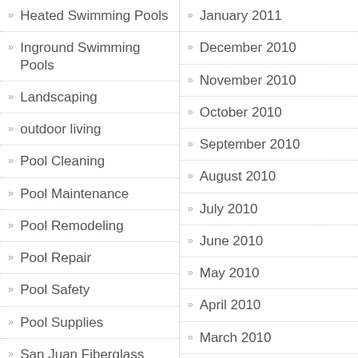Heated Swimming Pools
Inground Swimming Pools
Landscaping
outdoor living
Pool Cleaning
Pool Maintenance
Pool Remodeling
Pool Repair
Pool Safety
Pool Supplies
San Juan Fiberglass Swimming Pools
Summer Kitchens
Swimming Pool Photos
January 2011
December 2010
November 2010
October 2010
September 2010
August 2010
July 2010
June 2010
May 2010
April 2010
March 2010
February 2010
January 2010